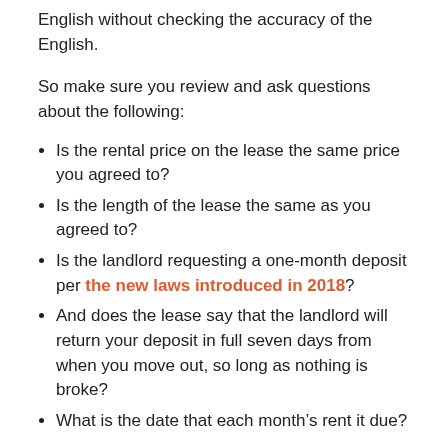English without checking the accuracy of the English.
So make sure you review and ask questions about the following:
Is the rental price on the lease the same price you agreed to?
Is the length of the lease the same as you agreed to?
Is the landlord requesting a one-month deposit per the new laws introduced in 2018?
And does the lease say that the landlord will return your deposit in full seven days from when you move out, so long as nothing is broke?
What is the date that each month’s rent it due?